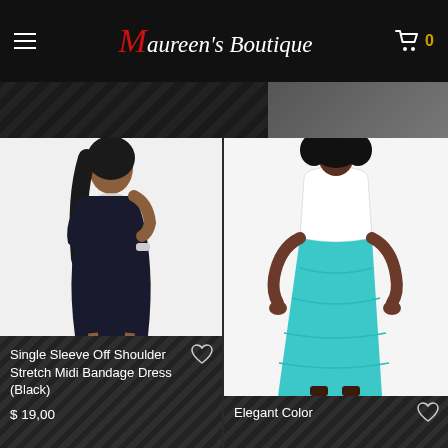Maureen's Boutique
[Figure (photo): Woman wearing a single sleeve off-shoulder navy blue stretch midi bandage dress]
Single Sleeve Off Shoulder Stretch Midi Bandage Dress (Black)
$ 19,00
[Figure (photo): Woman wearing a white top with teal/turquoise maxi skirt, Elegant Color product]
Elegant Color